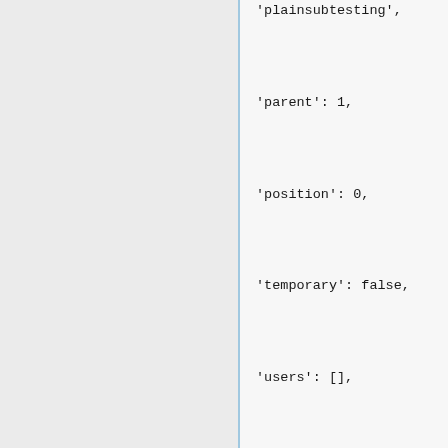'plainsubtesting',

'parent': 1,

'position': 0,

'temporary': false,

'users': [],

'x-connecturl': u'mumble://kuunavang.funz halt.net/testing/plainsub version=1.2.2'}],

'description': ,

'id': 1,

'links': [],

'name': 'testing',

'parent': 0,